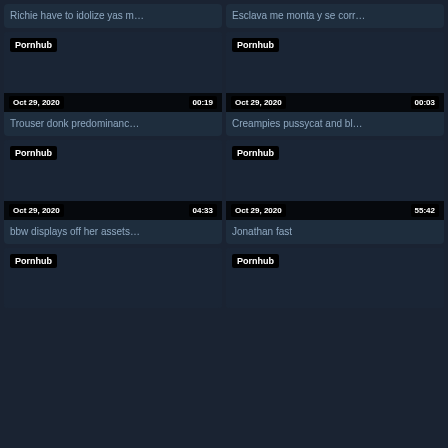[Figure (screenshot): Video thumbnail card: Oct 29, 2020, 00:22, title: Richie have to idolize yas m...]
[Figure (screenshot): Video thumbnail card: Oct 29, 2020, 04:00, title: Esclava me monta y se corr...]
[Figure (screenshot): Video thumbnail card with Pornhub badge: Oct 29, 2020, 00:19, title: Trouser donk predominanc...]
[Figure (screenshot): Video thumbnail card with Pornhub badge: Oct 29, 2020, 00:03, title: Creampies pussycat and bl...]
[Figure (screenshot): Video thumbnail card with Pornhub badge: Oct 29, 2020, 04:33, title: bbw displays off her assets...]
[Figure (screenshot): Video thumbnail card with Pornhub badge: Oct 29, 2020, 55:42, title: Jonathan fast]
[Figure (screenshot): Video thumbnail card with Pornhub badge (partial, bottom of page)]
[Figure (screenshot): Video thumbnail card with Pornhub badge (partial, bottom of page)]